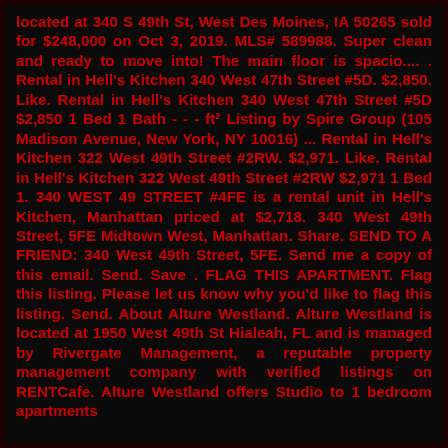located at 340 S 49th St, West Des Moines, IA 50265 sold for $248,000 on Oct 3, 2019. MLS# 589988. Super clean and ready to move into! The main floor is spacio.... . Rental in Hell's Kitchen 340 West 47th Street #5D. $2,850. Like. Rental in Hell's Kitchen 340 West 47th Street #5D $2,850 1 Bed 1 Bath - - - ft² Listing by Spire Group (105 Madison Avenue, New York, NY 10016) ... Rental in Hell's Kitchen 322 West 49th Street #2RW. $2,971. Like. Rental in Hell's Kitchen 322 West 49th Street #2RW $2,971 1 Bed 1. 340 WEST 49 STREET #4FE is a rental unit in Hell's Kitchen, Manhattan priced at $2,718. 340 West 49th Street, 5FE Midtown West, Manhattan. Share. SEND TO A FRIEND: 340 West 49th Street, 5FE. Send me a copy of this email. Send. Save . FLAG THIS APARTMENT. Flag this listing. Please let us know why you'd like to flag this listing. Send. About Alture Westland. Alture Westland is located at 1950 West 49th St Hialeah, FL and is managed by Rivergate Management, a reputable property management company with verified listings on RENTCafe. Alture Westland offers Studio to 1 bedroom apartments